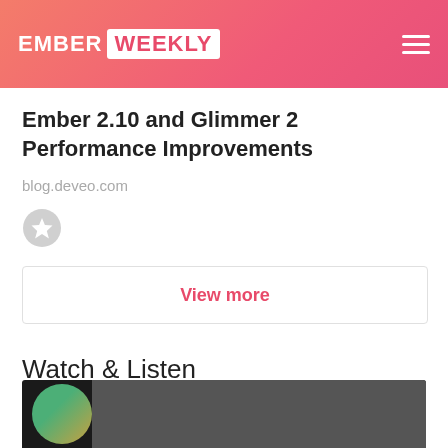EMBER WEEKLY
Ember 2.10 and Glimmer 2 Performance Improvements
blog.deveo.com
[Figure (other): Star/favorite icon button (circular grey star icon)]
View more
Watch & Listen
[Figure (photo): Thumbnail image at bottom of page showing a dark background with a green circular element on the left side]